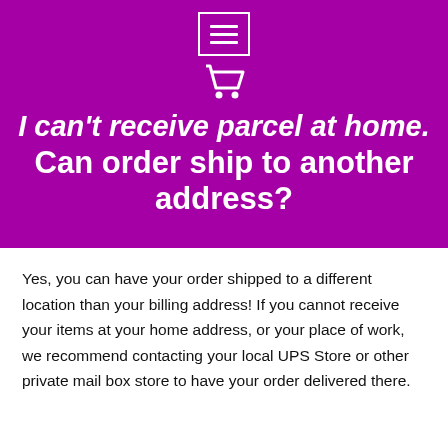[Figure (other): Purple header section with hamburger menu icon (three horizontal lines in a white bordered box) and a white shopping cart icon]
I can't receive parcel at home. Can order ship to another address?
Yes, you can have your order shipped to a different location than your billing address! If you cannot receive your items at your home address, or your place of work, we recommend contacting your local UPS Store or other private mail box store to have your order delivered there.